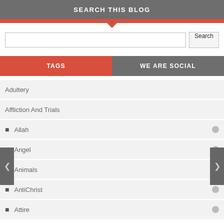SEARCH THIS BLOG
Adultery
Affliction And Trials
Allah
Angel
Animals
AntiChrist
Attire